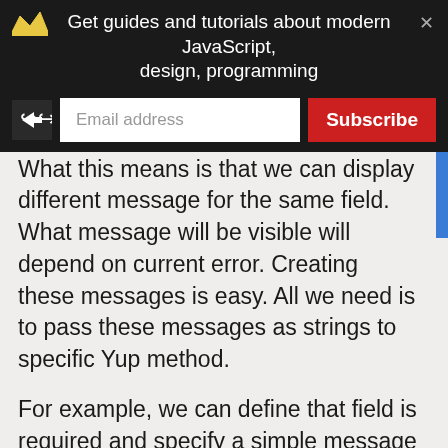Get guides and tutorials about modern JavaScript, design, programming
each of Yup's validation methods. What this means is that we can display different message for the same field. What message will be visible will depend on current error. Creating these messages is easy. All we need is to pass these messages as strings to specific Yup method.
For example, we can define that field is required and specify a simple message for this condition: required('Field "X" is required'). We will use this feature in our schema as well and define different message for different validations. Nonetheless, the